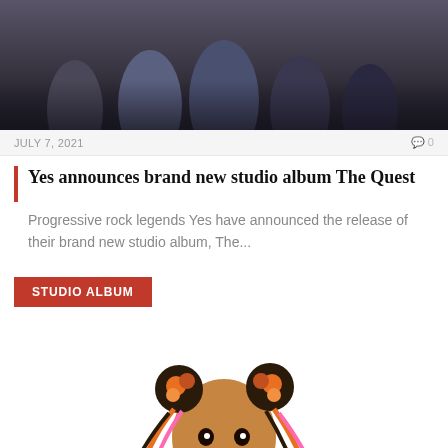[Figure (photo): Group photo of band members (Yes) against a dark background, showing multiple people standing together]
JULY 7, 2021   0
Yes announces brand new studio album The Quest
Progressive rock legends Yes have announced the release of their brand new studio album, The...
STUDIO ALBUM
[Figure (photo): Young girl with colorful braided hair styled in two buns, smiling, against a white background]